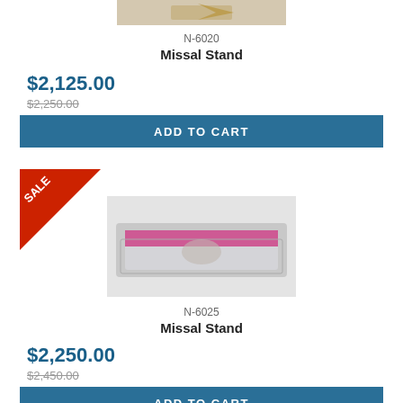[Figure (photo): Product image of Missal Stand N-6020, partially visible at top of page]
N-6020
Missal Stand
$2,125.00
$2,250.00
ADD TO CART
[Figure (photo): Red sale badge triangle in top-left corner of second product]
[Figure (photo): Product image of Missal Stand N-6025, ornate silver stand with pink cushion top]
N-6025
Missal Stand
$2,250.00
$2,450.00
ADD TO CART